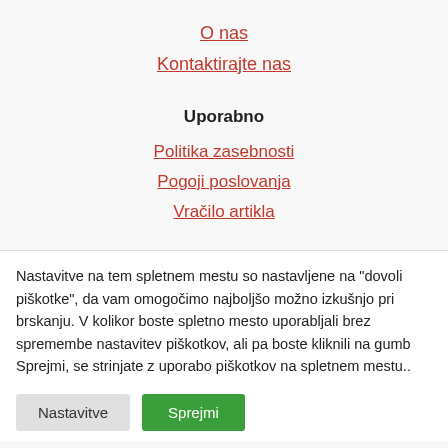O nas
Kontaktirajte nas
Uporabno
Politika zasebnosti
Pogoji poslovanja
Vračilo artikla
Nastavitve na tem spletnem mestu so nastavljene na "dovoli piškotke", da vam omogočimo najboljšo možno izkušnjo pri brskanju. V kolikor boste spletno mesto uporabljali brez spremembe nastavitev piškotkov, ali pa boste kliknili na gumb Sprejmi, se strinjate z uporabo piškotkov na spletnem mestu..
Nastavitve | Sprejmi